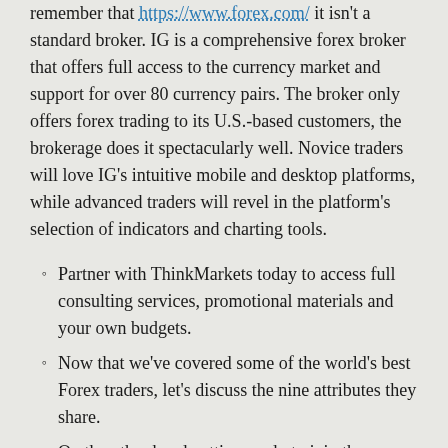remember that https://www.forex.com/ it isn't a standard broker. IG is a comprehensive forex broker that offers full access to the currency market and support for over 80 currency pairs. The broker only offers forex trading to its U.S.-based customers, the brokerage does it spectacularly well. Novice traders will love IG's intuitive mobile and desktop platforms, while advanced traders will revel in the platform's selection of indicators and charting tools.
Partner with ThinkMarkets today to access full consulting services, promotional materials and your own budgets.
Now that we've covered some of the world's best Forex traders, let's discuss the nine attributes they share.
On the other hand getting ready to join the